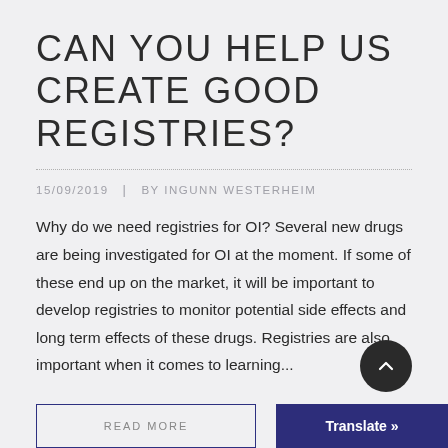CAN YOU HELP US CREATE GOOD REGISTRIES?
15/09/2019  |  BY INGUNN WESTERHEIM
Why do we need registries for OI? Several new drugs are being investigated for OI at the moment. If some of these end up on the market, it will be important to develop registries to monitor potential side effects and long term effects of these drugs. Registries are also important when it comes to learning...
READ MORE
Translate »